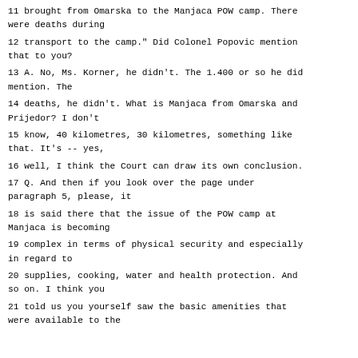11 brought from Omarska to the Manjaca POW camp. There were deaths during
12 transport to the camp." Did Colonel Popovic mention that to you?
13 A. No, Ms. Korner, he didn't. The 1.400 or so he did mention. The
14 deaths, he didn't. What is Manjaca from Omarska and Prijedor? I don't
15 know, 40 kilometres, 30 kilometres, something like that. It's -- yes,
16 well, I think the Court can draw its own conclusion.
17 Q. And then if you look over the page under paragraph 5, please, it
18 is said there that the issue of the POW camp at Manjaca is becoming
19 complex in terms of physical security and especially in regard to
20 supplies, cooking, water and health protection. And so on. I think you
21 told us you yourself saw the basic amenities that were available to the